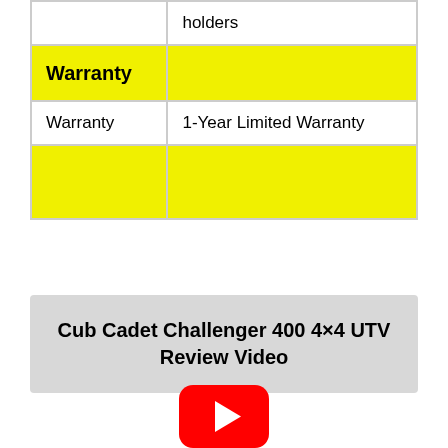|  |  |
| --- | --- |
|  | holders |
| Warranty |  |
| Warranty | 1-Year Limited Warranty |
|  |  |
Cub Cadet Challenger 400 4×4 UTV Review Video
[Figure (logo): YouTube play button icon — red rounded rectangle with white triangle play arrow]